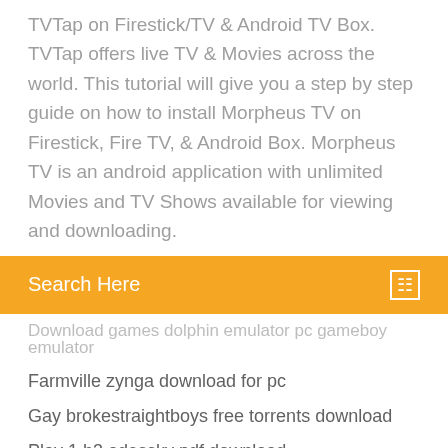TVTap on Firestick/TV & Android TV Box. TVTap offers live TV & Movies across the world. This tutorial will give you a step by step guide on how to install Morpheus TV on Firestick, Fire TV, & Android Box. Morpheus TV is an android application with unlimited Movies and TV Shows available for viewing and downloading.
Search Here
Download games dolphin emulator pc gameboy emulator
Farmville zynga download for pc
Gay brokestraightboys free torrents download
Play 1 b3 odessky pdf download
Glengary glen ross script pdf download
Fortnite download hp 1502 pc
Gershwin preludes for piano pdf free download
Download gta san andreas with real cars apk
Windows app youtube downloader
Htacces download files not allowed
Clip di download mp3 mp4